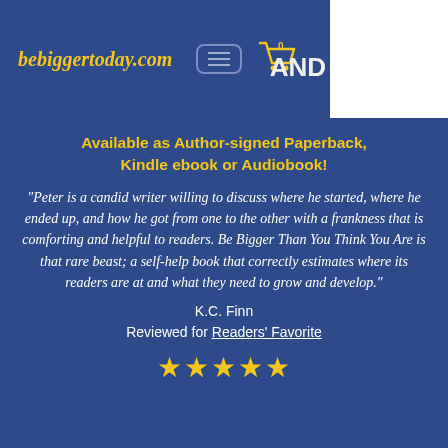bebiggertoday.com
Available as Author-signed Paperback, Kindle ebook or Audiobook!
"Peter is a candid writer willing to discuss where he started, where he ended up, and how he got from one to the other with a frankness that is comforting and helpful to readers. Be Bigger Than You Think You Are is that rare beast; a self-help book that correctly estimates where its readers are at and what they need to grow and develop."
K.C. Finn
Reviewed for Readers' Favorite
[Figure (other): Five gold star rating icons]